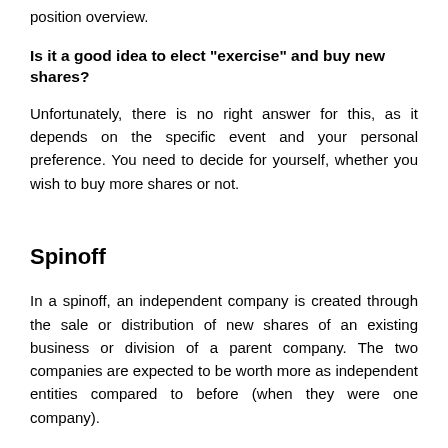position overview.
Is it a good idea to elect "exercise" and buy new shares?
Unfortunately, there is no right answer for this, as it depends on the specific event and your personal preference. You need to decide for yourself, whether you wish to buy more shares or not.
Spinoff
In a spinoff, an independent company is created through the sale or distribution of new shares of an existing business or division of a parent company. The two companies are expected to be worth more as independent entities compared to before (when they were one company).
The parent company's stock will decrease in value after the spinoff and shareholders will receive an equivalent amount of